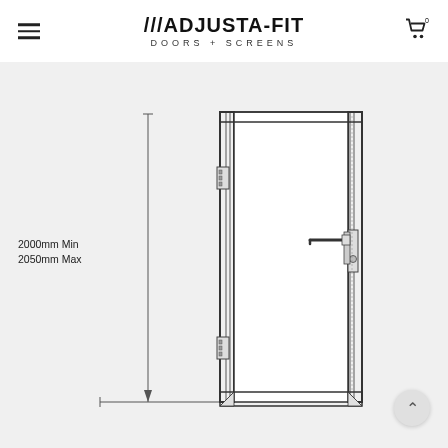ADJUSTA-FIT DOORS + SCREENS
[Figure (engineering-diagram): Technical front-elevation drawing of a single hinged door with frame. Shows left hinge side with two hinge pairs at top and bottom, and right handle/lock side with lever handle set and lock cylinder. Bottom threshold detail shown. A vertical dimension line on the left side indicates height range: 2000mm Min, 2050mm Max.]
2000mm Min
2050mm Max